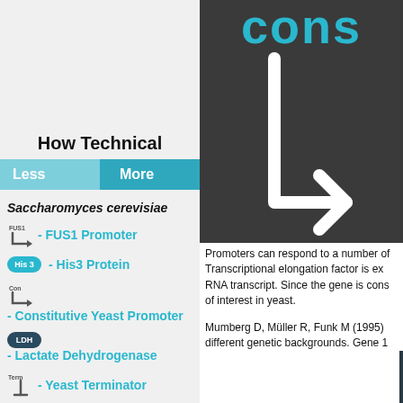[Figure (illustration): Dark background panel showing the word 'cons' in cyan text at top and a large white arrow/promoter symbol below it]
How Technical
[Figure (infographic): Less / More button toggle]
Saccharomyces cerevisiae
FUS1 Promoter icon - FUS1 Promoter
His 3 pill - His3 Protein
Con arrow icon - Constitutive Yeast Promoter
LDH pill - Lactate Dehydrogenase
Term icon - Yeast Terminator
Promoters can respond to a number of Transcriptional elongation factor is ex RNA transcript. Since the gene is cons of interest in yeast.
Mumberg D, Müller R, Funk M (1995) different genetic backgrounds. Gene 1
[Figure (infographic): Dark panel showing yeast genetic construct diagram with Fus 1, Term, Cons, Term labels and His3, LDH components]